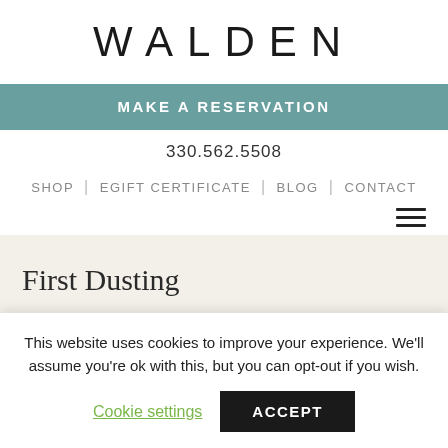WALDEN
MAKE A RESERVATION
330.562.5508
SHOP | EGIFT CERTIFICATE | BLOG | CONTACT
First Dusting
What a beautiful day at Inn Walden. We had a small intimate wedding in the Blue Ribbon Café with a light
This website uses cookies to improve your experience. We'll assume you're ok with this, but you can opt-out if you wish. Cookie settings ACCEPT